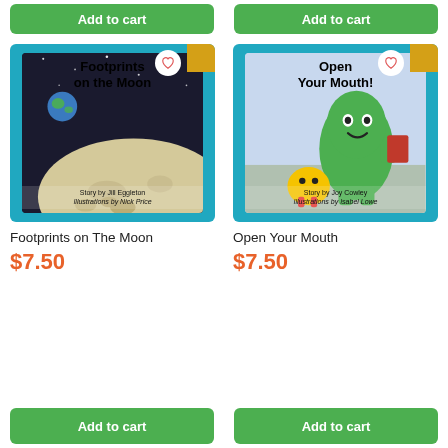[Figure (screenshot): E-commerce product listing page showing two children's books: 'Footprints on The Moon' and 'Open Your Mouth' each priced at $7.50 with Add to cart buttons]
Footprints on The Moon
$7.50
Open Your Mouth
$7.50